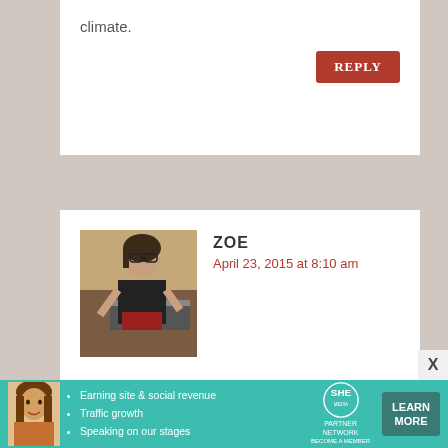climate.
REPLY
ZOE
April 23, 2015 at 8:10 am
Hi John,
Silicone would be a great option, I always forget about that.
Thanks, Zoë
[Figure (photo): Profile photo of commenter Zoe, a person in a kitchen setting wearing dark clothing]
[Figure (infographic): SHE Partner Network advertisement banner with photo of woman, bullet points about earning site & social revenue, traffic growth, speaking on our stages, SHE logo, and LEARN MORE button]